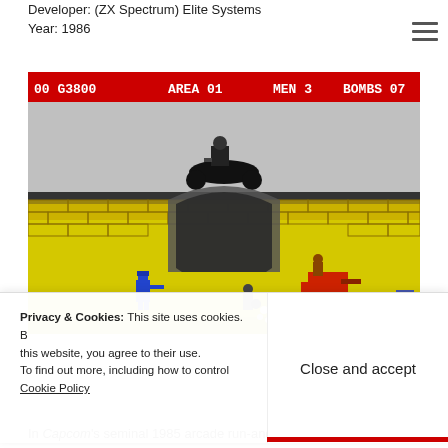Developer: (ZX Spectrum) Elite Systems
Year: 1986
[Figure (screenshot): ZX Spectrum screenshot of a run-and-gun arcade game showing a motorcycle rider at the top on grey background, and below a yellow landscape with brick tunnel arch, a blue soldier, an enemy on red vehicle, and a cannon on the right. HUD bar at top shows: 00 G3800 AREA 01 MEN 3 BOMBS 07]
Privacy & Cookies: This site uses cookies. By continuing to use this website, you agree to their use.
To find out more, including how to control cookies, see here: Cookie Policy
Close and accept
In Capcom's seminal 1985 arcade run-and-gun